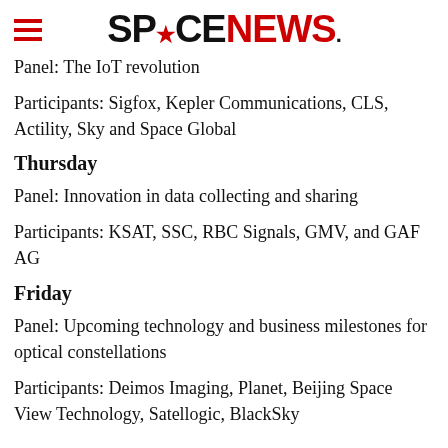SPACENEWS
Panel: The IoT revolution
Participants: Sigfox, Kepler Communications, CLS, Actility, Sky and Space Global
Thursday
Panel: Innovation in data collecting and sharing
Participants: KSAT, SSC, RBC Signals, GMV, and GAF AG
Friday
Panel: Upcoming technology and business milestones for optical constellations
Participants: Deimos Imaging, Planet, Beijing Space View Technology, Satellogic, BlackSky